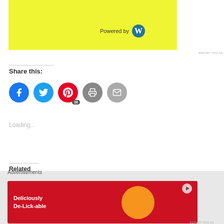[Figure (screenshot): Yellow advertisement banner with 'Powered by WordPress' logo]
REPORT THIS AD
Share this:
[Figure (infographic): Row of social sharing buttons: Facebook (blue), Twitter (blue), Pinterest (red with badge 20), Print (gray), Email (gray)]
Loading...
Related
Chemical Reactions for Kids to
States of Matter – Chemistry
[Figure (screenshot): Bottom advertisement banner: red background with 'Deliciously De-Lick-able' text and orange circle with cat image]